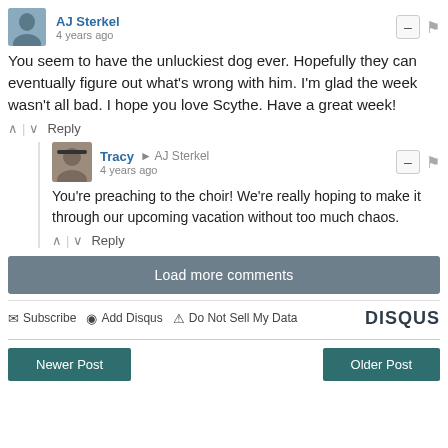AJ Sterkel — 4 years ago
You seem to have the unluckiest dog ever. Hopefully they can eventually figure out what's wrong with him. I'm glad the week wasn't all bad. I hope you love Scythe. Have a great week!
Tracy → AJ Sterkel — 4 years ago
You're preaching to the choir! We're really hoping to make it through our upcoming vacation without too much chaos.
Load more comments
Subscribe | Add Disqus | Do Not Sell My Data | DISQUS
Newer Post | Older Post